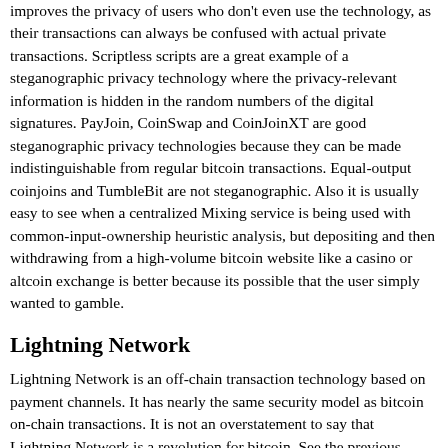improves the privacy of users who don't even use the technology, as their transactions can always be confused with actual private transactions. Scriptless scripts are a great example of a steganographic privacy technology where the privacy-relevant information is hidden in the random numbers of the digital signatures. PayJoin, CoinSwap and CoinJoinXT are good steganographic privacy technologies because they can be made indistinguishable from regular bitcoin transactions. Equal-output coinjoins and TumbleBit are not steganographic. Also it is usually easy to see when a centralized Mixing service is being used with common-input-ownership heuristic analysis, but depositing and then withdrawing from a high-volume bitcoin website like a casino or altcoin exchange is better because its possible that the user simply wanted to gamble.
Lightning Network
Lightning Network is an off-chain transaction technology based on payment channels. It has nearly the same security model as bitcoin on-chain transactions. It is not an overstatement to say that Lightning Network is a revolution for bitcoin. See the previous section on #Off-chain transactions.
As well as greatly improving privacy, Lightning Network